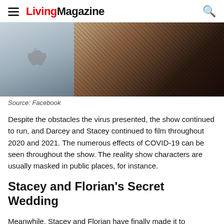Living Magazine
[Figure (photo): Two women, one with long blonde hair and one in a dark fishnet/lace outfit, sitting together near an Apple laptop. Photo cropped showing their torsos and partial faces.]
Source: Facebook
Despite the obstacles the virus presented, the show continued to run, and Darcey and Stacey continued to film throughout 2020 and 2021. The numerous effects of COVID-19 can be seen throughout the show. The reality show characters are usually masked in public places, for instance.
Stacey and Florian's Secret Wedding
Meanwhile, Stacey and Florian have finally made it to matrimony. We had seen Stacey's wedding dress in season